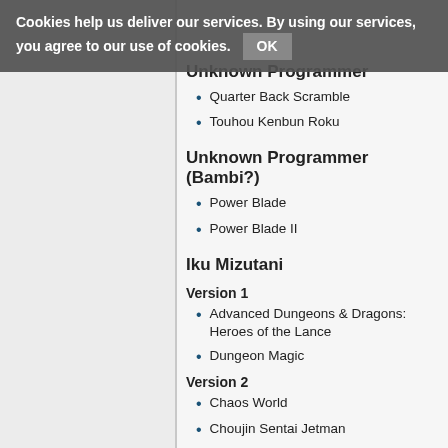Unknown Programmer
Quarter Back Scramble
Touhou Kenbun Roku
Unknown Programmer (Bambi?)
Power Blade
Power Blade II
Iku Mizutani
Version 1
Advanced Dungeons & Dragons: Heroes of the Lance
Dungeon Magic
Version 2
Chaos World
Choujin Sentai Jetman
Don Doko Don 2